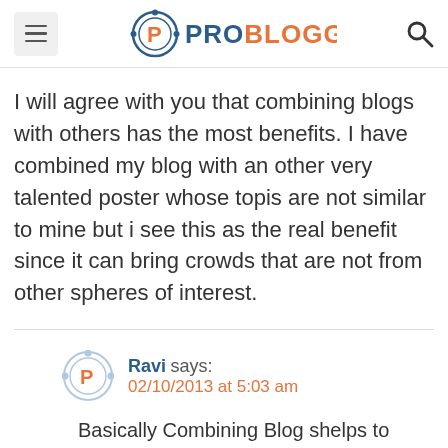ProBlogger
I will agree with you that combining blogs with others has the most benefits. I have combined my blog with an other very talented poster whose topis are not similar to mine but i see this as the real benefit since it can bring crowds that are not from other spheres of interest.
Ravi says: 02/10/2013 at 5:03 am
Basically Combining Blog shelps to Recieve Link and Pagerank Juice which are extremely Important for g